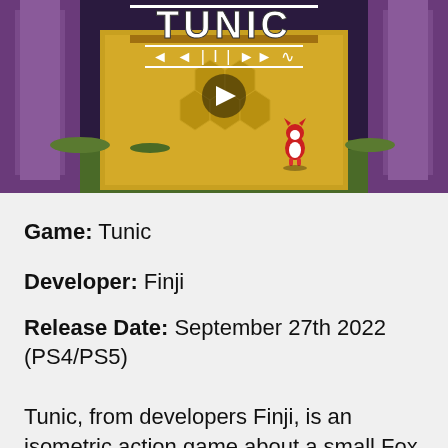[Figure (screenshot): Screenshot of the game TUNIC showing a small red fox character standing in front of a large golden door/gate with hexagonal patterns. Purple pillars flank the entrance. The game logo 'TUNIC' with stylized rune-like text is displayed prominently. A play button triangle overlay is visible on the image.]
Game: Tunic
Developer: Finji
Release Date: September 27th 2022 (PS4/PS5)
Tunic, from developers Finji, is an isometric action game about a small Fox. In the game,